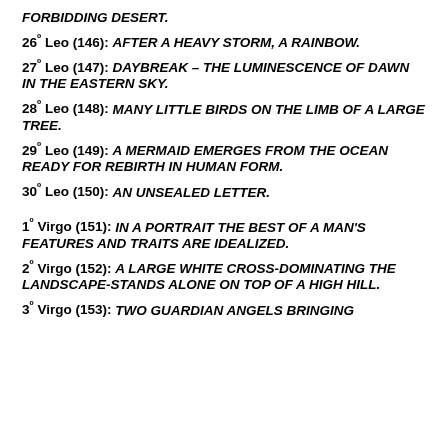FORBIDDING DESERT.
26º Leo (146): AFTER A HEAVY STORM, A RAINBOW.
27º Leo (147): DAYBREAK – THE LUMINESCENCE OF DAWN IN THE EASTERN SKY.
28º Leo (148): MANY LITTLE BIRDS ON THE LIMB OF A LARGE TREE.
29º Leo (149): A MERMAID EMERGES FROM THE OCEAN READY FOR REBIRTH IN HUMAN FORM.
30º Leo (150): AN UNSEALED LETTER.
1º Virgo (151): IN A PORTRAIT THE BEST OF A MAN'S FEATURES AND TRAITS ARE IDEALIZED.
2º Virgo (152): A LARGE WHITE CROSS-DOMINATING THE LANDSCAPE-STANDS ALONE ON TOP OF A HIGH HILL.
3º Virgo (153): TWO GUARDIAN ANGELS BRINGING